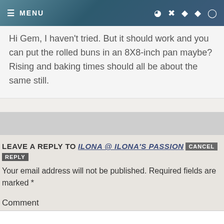MENU
Hi Gem, I haven't tried. But it should work and you can put the rolled buns in an 8X8-inch pan maybe? Rising and baking times should all be about the same still.
LEAVE A REPLY TO ILONA @ ILONA'S PASSION CANCEL REPLY
Your email address will not be published. Required fields are marked *
Comment